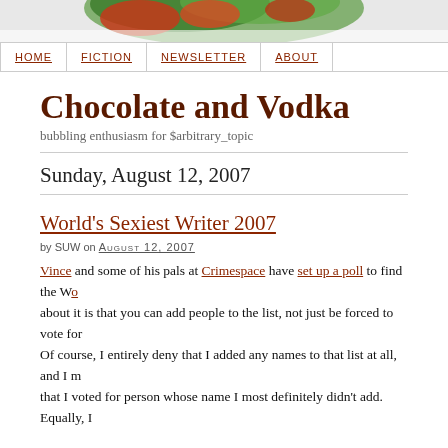[Figure (photo): Decorative blog banner with green leaves and red/orange floral imagery]
HOME   FICTION   NEWSLETTER   ABOUT
Chocolate and Vodka
bubbling enthusiasm for $arbitrary_topic
Sunday, August 12, 2007
World's Sexiest Writer 2007
by SUW on AUGUST 12, 2007
Vince and some of his pals at Crimespace have set up a poll to find the Wo about it is that you can add people to the list, not just be forced to vote for Of course, I entirely deny that I added any names to that list at all, and I m that I voted for person whose name I most definitely didn't add. Equally, I